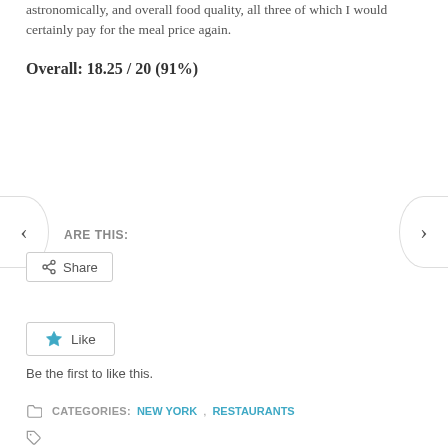astronomically, and overall food quality, all three of which I would certainly pay for the meal price again.
Overall: 18.25 / 20 (91%)
[Figure (other): Navigation arrows (left chevron and right chevron) on left and right edges of the page for slideshow navigation]
ARE THIS:
[Figure (other): Share button with share icon]
[Figure (other): Like button with blue star icon]
Be the first to like this.
CATEGORIES: NEW YORK, RESTAURANTS